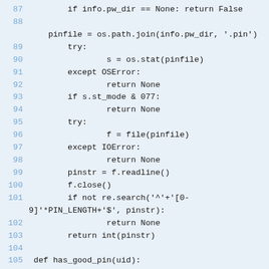[Figure (screenshot): Python source code snippet showing lines 87-109, displayed as a code block with line numbers in blue on a light blue-grey background. Code includes functions get_pin and has_good_pin and beginning of verify_user_pin.]